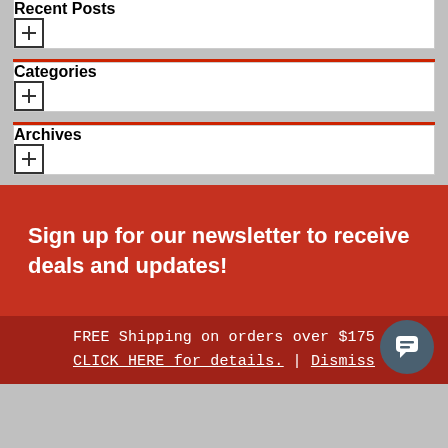Recent Posts
Categories
Archives
Sign up for our newsletter to receive deals and updates!
FREE Shipping on orders over $175
CLICK HERE for details. | Dismiss